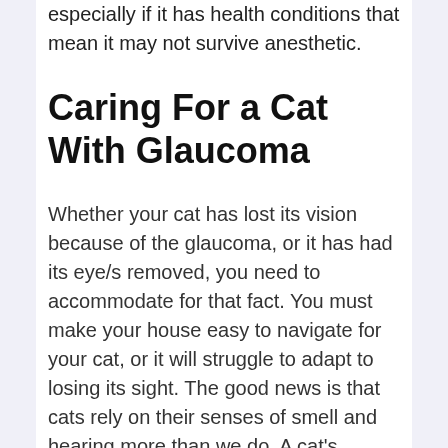especially if it has health conditions that mean it may not survive anesthetic.
Caring For a Cat With Glaucoma
Whether your cat has lost its vision because of the glaucoma, or it has had its eye/s removed, you need to accommodate for that fact. You must make your house easy to navigate for your cat, or it will struggle to adapt to losing its sight. The good news is that cats rely on their senses of smell and hearing more than we do. A cat's eyesight is akin to a person with very severe short sightedness (and